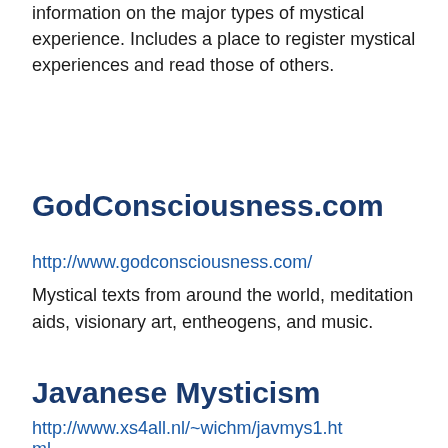information on the major types of mystical experience. Includes a place to register mystical experiences and read those of others.
GodConsciousness.com
http://www.godconsciousness.com/
Mystical texts from around the world, meditation aids, visionary art, entheogens, and music.
Javanese Mysticism
http://www.xs4all.nl/~wichm/javmys1.html